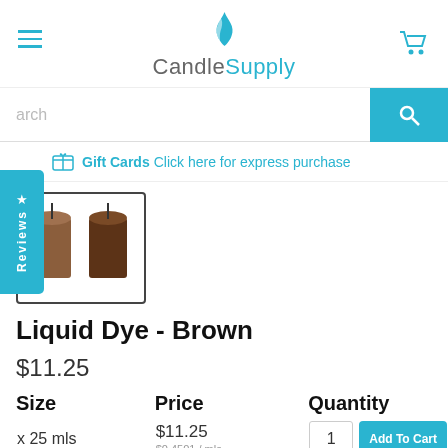CandleSupply
arch (search input)
Gift Cards Click here for express purchase
[Figure (photo): Two brown candles in glass containers side by side]
Liquid Dye - Brown
$11.25
| Size | Price | Quantity |
| --- | --- | --- |
| x 25 mls | $11.25
$0.4501 / mls | 1 | Add To Cart |